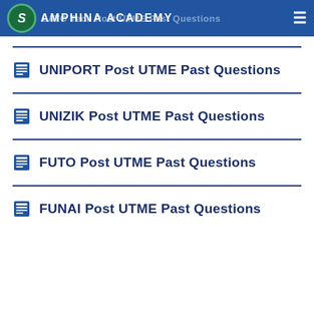SAMPHINA ACADEMY — LATO Tech Post UTME Past Questions
UNIPORT Post UTME Past Questions
UNIZIK Post UTME Past Questions
FUTO Post UTME Past Questions
FUNAI Post UTME Past Questions